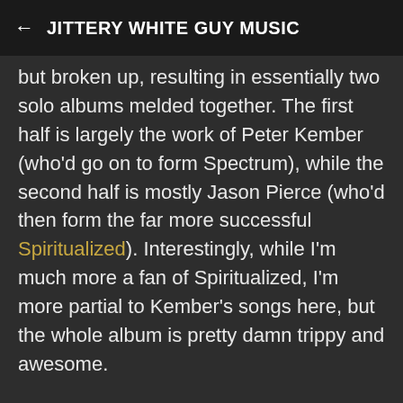← JITTERY WHITE GUY MUSIC
but broken up, resulting in essentially two solo albums melded together. The first half is largely the work of Peter Kember (who'd go on to form Spectrum), while the second half is mostly Jason Pierce (who'd then form the far more successful Spiritualized). Interestingly, while I'm much more a fan of Spiritualized, I'm more partial to Kember's songs here, but the whole album is pretty damn trippy and awesome.
Opening track "Big City" has this great pulsing drone and repetitive lyrics and basically goes on forever (at least on the non-condensed version), one of my favorites by the band. "Why Couldn't